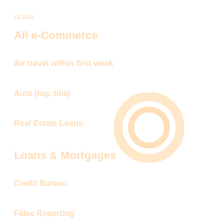LEGAL
All e-Commerce
Air travel within first week
Auto (tag, title)
Real Estate Loans
Loans & Mortgages
Credit Bureau
False Reporting
Cellular Activity
Credit File
Gambling
Pawn Shops
[Figure (other): Two concentric circles in light orange/peach color on white background, positioned center-right of the page]